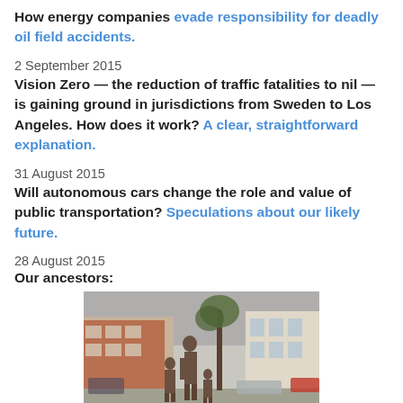How energy companies evade responsibility for deadly oil field accidents.
2 September 2015
Vision Zero — the reduction of traffic fatalities to nil — is gaining ground in jurisdictions from Sweden to Los Angeles. How does it work? A clear, straightforward explanation.
31 August 2015
Will autonomous cars change the role and value of public transportation? Speculations about our likely future.
28 August 2015
Our ancestors:
[Figure (photo): Bronze statue of a man with two children in an outdoor town square setting, with brick buildings and trees in the background.]